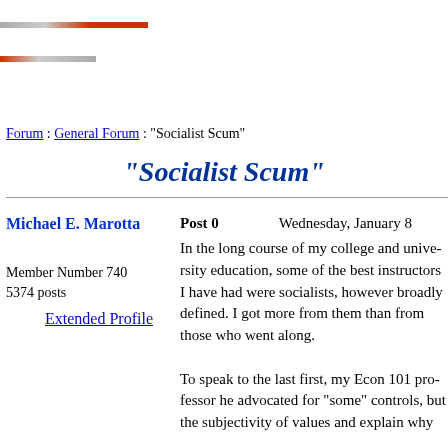[Figure (other): Website header with decorative red/gray horizontal lines]
Forum : General Forum : "Socialist Scum"
"Socialist Scum"
Post 0   Wednesday, January 8
Michael E. Marotta
Member Number 740
5374 posts
Extended Profile
In the long course of my college and unive... who were socialists, however broadly defi... best instructors I have had. I got more from... along.
To speak to the last first, my Econ 101 pro... he advocated for "some" controls, but the... subjectivity of values and explain why...